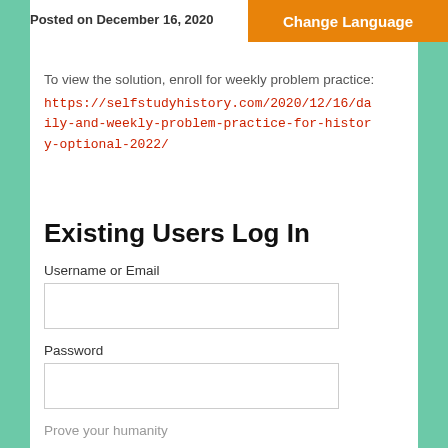Posted on December 16, 2020
Change Language
To view the solution, enroll for weekly problem practice:
https://selfstudyhistory.com/2020/12/16/daily-and-weekly-problem-practice-for-history-optional-2022/
Existing Users Log In
Username or Email
Password
Prove your humanity